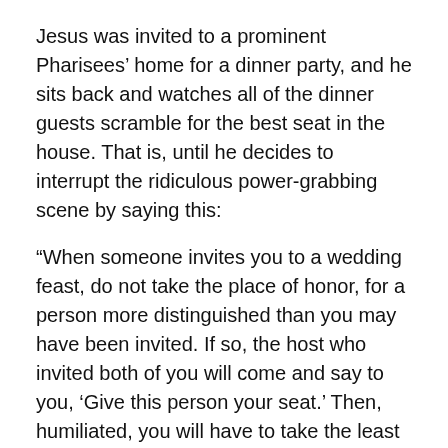Jesus was invited to a prominent Pharisees' home for a dinner party, and he sits back and watches all of the dinner guests scramble for the best seat in the house. That is, until he decides to interrupt the ridiculous power-grabbing scene by saying this:
“When someone invites you to a wedding feast, do not take the place of honor, for a person more distinguished than you may have been invited. If so, the host who invited both of you will come and say to you, ‘Give this person your seat.’ Then, humiliated, you will have to take the least important place.
“But when you are invited, take the lowest place, so that when you host comes, he will say to you, ‘Friend, move up to a better place.’ Then you will be honored in the presence of all the other guests.”